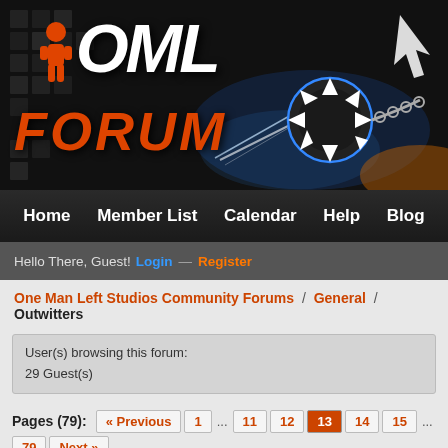[Figure (illustration): OML Forum banner with logo showing 'OML' in white italic text and 'FORUM' in orange italic text, with a spiky blue/black weapon/ball graphic and game art on dark background]
Home  Member List  Calendar  Help  Blog
Hello There, Guest! Login — Register
One Man Left Studios Community Forums / General / Outwitters
User(s) browsing this forum:
29 Guest(s)
Pages (79): « Previous  1  ...  11  12  13  14  15  ...  79  Next »
Outwitters
| Thread / Author |
| --- |